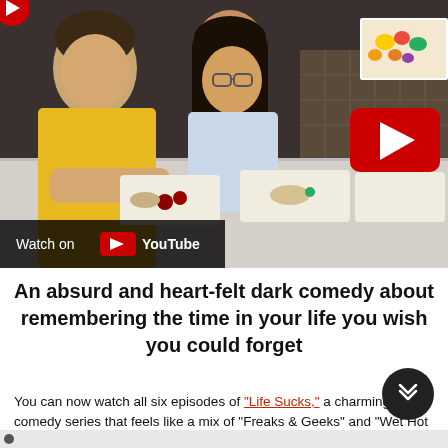[Figure (screenshot): YouTube video thumbnail showing two teenagers sitting at a cafeteria table, a boy in a yellow shirt and a girl with glasses, with food trays in front of them. A fruit poster is visible on the tiled wall in the background. A YouTube play button overlay is visible in the center-right. A 'Watch on YouTube' bar appears at the bottom left of the video.]
An absurd and heart-felt dark comedy about remembering the time in your life you wish you could forget
You can now watch all six episodes of "Life Sucks," a charming dark comedy series that feels like a mix of "Freaks & Geeks" and "Wet Hot American Summer," with adult actors playing versions of their teenage